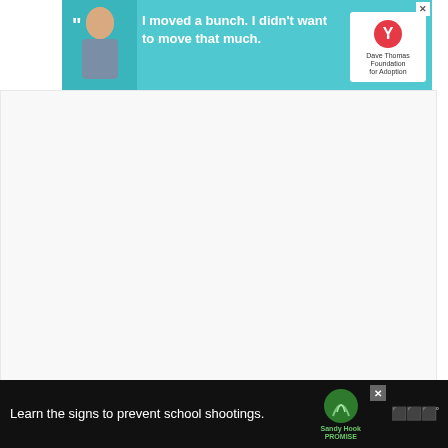[Figure (infographic): Top advertisement banner with teal background: boy with quote 'I moved a bunch. I didn't want to move that much.' and Dave Thomas Foundation for Adoption logo]
[Figure (infographic): Large white/light gray advertisement space in center of page]
Fill a tall glass with ice
Add 1 part Blueberry Lavender Syrup to 4 parts lemonade
Stir, garnish with fresh blueberries
[Figure (infographic): Bottom advertisement: black background, 'Learn the signs to prevent school shootings.' with Sandy Hook Promise green tree logo]
[Figure (infographic): Social sidebar with save icon (gray bars), heart/like button (red circle, 28 likes), and share button]